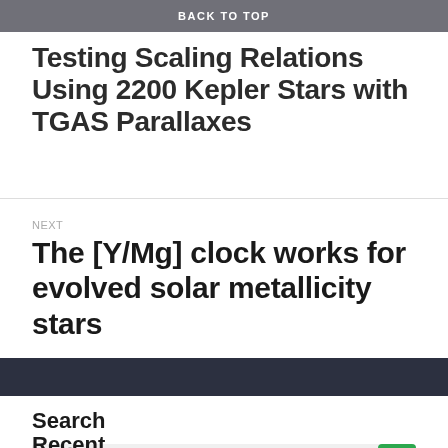BACK TO TOP
Testing Scaling Relations Using 2200 Kepler Stars with TGAS Parallaxes
NEXT
The [Y/Mg] clock works for evolved solar metallicity stars
Search
Search …
Recent